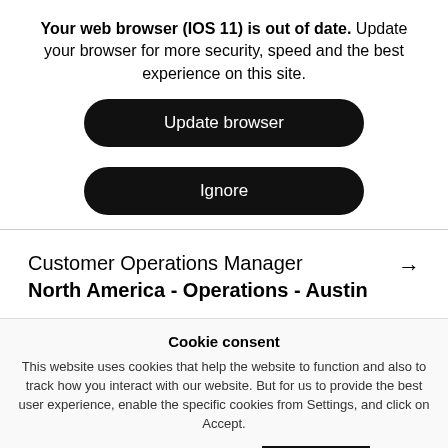Your web browser (IOS 11) is out of date. Update your browser for more security, speed and the best experience on this site.
Update browser
Ignore
Customer Operations Manager North America - Operations - Austin
Cookie consent
This website uses cookies that help the website to function and also to track how you interact with our website. But for us to provide the best user experience, enable the specific cookies from Settings, and click on Accept.
Preferences  Reject All  Accept All